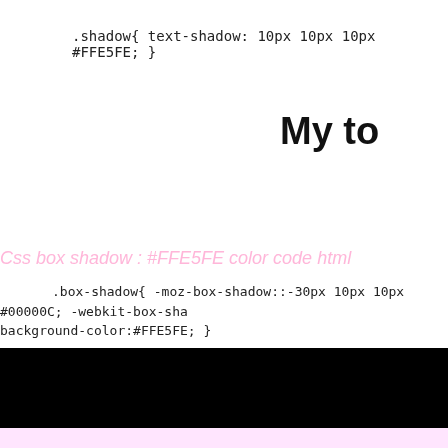.shadow{ text-shadow: 10px 10px 10px #FFE5FE; }
My to
Css box shadow : #FFE5FE color code html
.box-shadow{ -moz-box-shadow::-30px 10px 10px #00000C; -webkit-box-shadow: background-color:#FFE5FE; }
[Figure (other): Black rectangle bar spanning full width]
Css Gradient html color #FFE5FE code
.gradient{ background-color:#FFE5FE; filter:progid:DXImageTransform.Micros endColorstr=#052afc);background-image:-moz-linear-gradient(180deg, #FFE5FE 0 #FFE5FE 0%, #00000C 100%); background-image:-ms-linear-gradient(180deg, #F #FFE5FE 0%, #00000C 100%); background-image:-o-linear-gradient(180deg, #FF